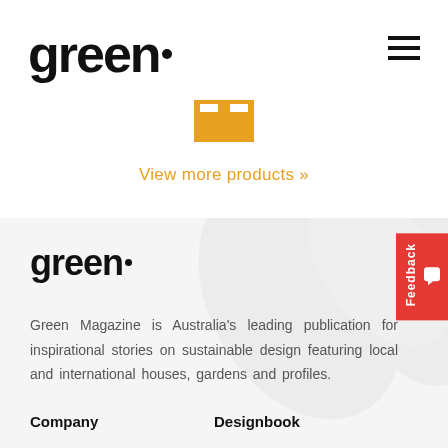[Figure (logo): Green Magazine logo - bold black text 'green' with a small circular dot/trademark symbol]
[Figure (other): Hamburger menu icon - three horizontal black bars]
[Figure (other): Orange rectangular product image placeholder with two white notched shapes at top]
View more products »
[Figure (logo): Green Magazine logo smaller version in footer section]
Green Magazine is Australia's leading publication for inspirational stories on sustainable design featuring local and international houses, gardens and profiles.
Company
Designbook
About Us
Advertise
Stockists
List Your Business
Press
Register